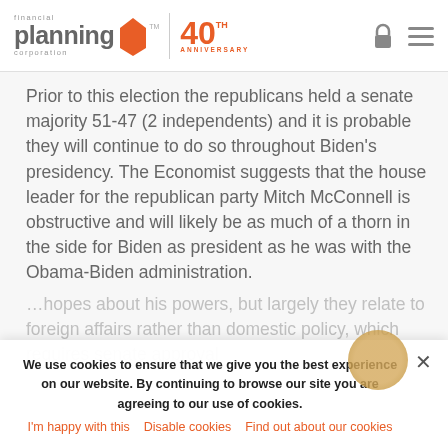financial planning corporation | 40th ANNIVERSARY
Prior to this election the republicans held a senate majority 51-47 (2 independents) and it is probable they will continue to do so throughout Biden’s presidency. The Economist suggests that the house leader for the republican party Mitch McConnell is obstructive and will likely be as much of a thorn in the side for Biden as president as he was with the Obama-Biden administration.
...hopes about his powers, but largely they relate to foreign affairs rather than domestic policy, which requires senate approval
We use cookies to ensure that we give you the best experience on our website. By continuing to browse our site you are agreeing to our use of cookies.
I’m happy with this   Disable cookies   Find out about our cookies